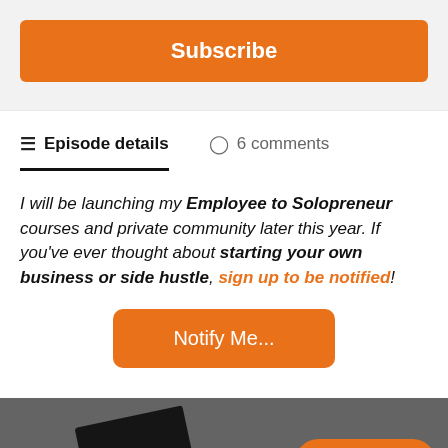Subscribe
Episode details    6 comments
I will be launching my Employee to Solopreneur courses and private community later this year. If you've ever thought about starting your own business or side hustle, sign up to be notified!
Notify Me...
[Figure (photo): A hand holding a dark book/notebook on a surface, with an orange Subscribe pill button overlaid in the bottom right corner]